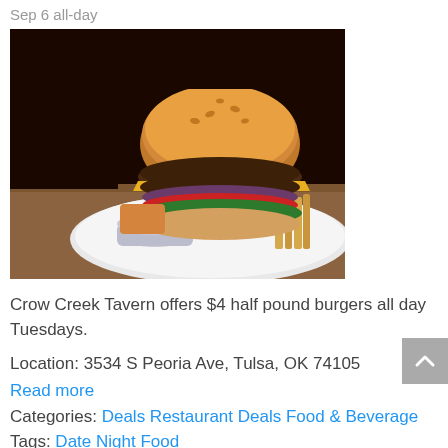Sep 6 all-day
[Figure (photo): Close-up photo of a large hamburger with cheese, lettuce, tomato, and red onion on a sesame bun, served on a white plate with french fries and a small cup of ketchup on a wooden surface, dark background.]
Crow Creek Tavern offers $4 half pound burgers all day Tuesdays.
Location: 3534 S Peoria Ave, Tulsa, OK 74105
Read more
Categories: Deals Restaurant Deals Food & Beverage Tags: Date Night Food
$4.50 Half Order Of Nachos (Tuesdays) @ The Brook
Tickets